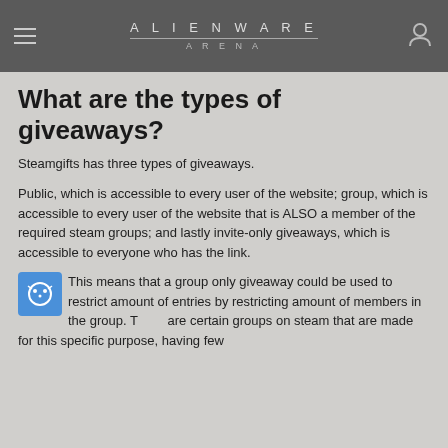ALIENWARE ARENA
What are the types of giveaways?
Steamgifts has three types of giveaways.
Public, which is accessible to every user of the website; group, which is accessible to every user of the website that is ALSO a member of the required steam groups; and lastly invite-only giveaways, which is accessible to everyone who has the link.
This means that a group only giveaway could be used to restrict amount of entries by restricting amount of members in the group. There are certain groups on steam that are made for this specific purpose, having few